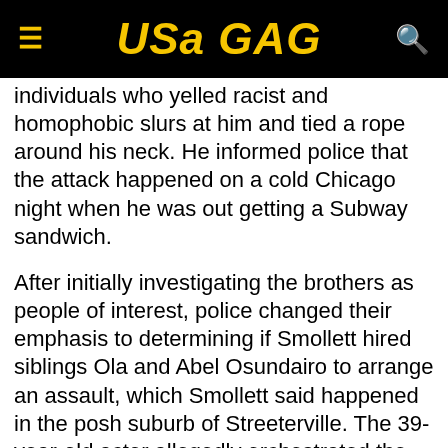USA GAG
individuals who yelled racist and homophobic slurs at him and tied a rope around his neck. He informed police that the attack happened on a cold Chicago night when he was out getting a Subway sandwich.
After initially investigating the brothers as people of interest, police changed their emphasis to determining if Smollett hired siblings Ola and Abel Osundairo to arrange an assault, which Smollett said happened in the posh suburb of Streeterville. The 39-year-old actor allegedly orchestrated the fake hate crime to “promote his career” and paid the two men $3,500 to help him, former Chicago police Superintendent Eddie T. Johnson said.
For allegedly filing four different false allegations to